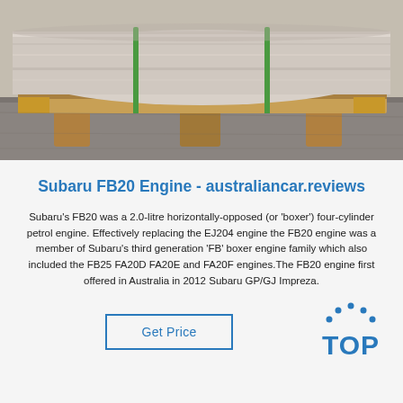[Figure (photo): Photo of a large rolled metal coil or sheet sitting on wooden pallets on a concrete floor, viewed from the front/side.]
Subaru FB20 Engine - australiancar.reviews
Subaru's FB20 was a 2.0-litre horizontally-opposed (or 'boxer') four-cylinder petrol engine. Effectively replacing the EJ204 engine the FB20 engine was a member of Subaru's third generation 'FB' boxer engine family which also included the FB25 FA20D FA20E and FA20F engines.The FB20 engine first offered in Australia in 2012 Subaru GP/GJ Impreza.
[Figure (logo): TOP logo with dots arranged in an arc above the letters TOP in blue]
Get Price